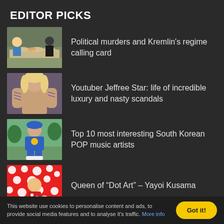EDITOR PICKS
Political murders and Kremlin's regime calling card
Youtuber Jeffree Star: life of incredible luxury and nasty scandals
Top 10 most interesting South Korean POP music artists
Queen of “Dot Art” – Yayoi Kusama
This website use cookies to personalise content and ads, to provide social media features and to analyse it's traffic. More info